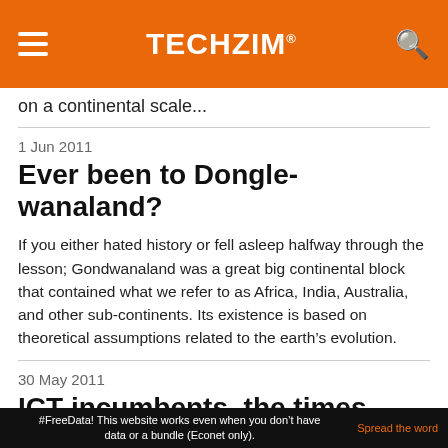TECHZiM
on a continental scale...
1 Jun 2011
Ever been to Dongle-wanaland?
If you either hated history or fell asleep halfway through the lesson; Gondwanaland was a great big continental block that contained what we refer to as Africa, India, Australia, and other sub-continents. Its existence is based on theoretical assumptions related to the earth’s evolution.
30 May 2011
ICT incumbents, the times they
#FreeData! This website works even when you don’t have data or a bundle (Econet only).  Spread the word